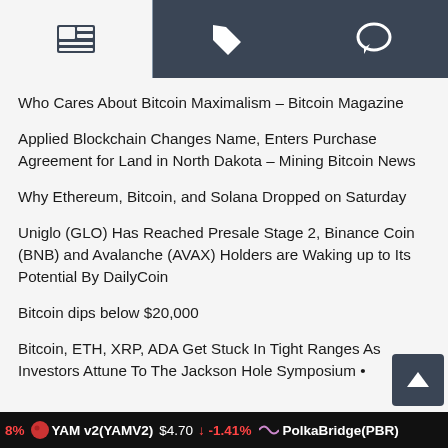Navigation bar with news, tag, and comment icons
Who Cares About Bitcoin Maximalism – Bitcoin Magazine
Applied Blockchain Changes Name, Enters Purchase Agreement for Land in North Dakota – Mining Bitcoin News
Why Ethereum, Bitcoin, and Solana Dropped on Saturday
Uniglo (GLO) Has Reached Presale Stage 2, Binance Coin (BNB) and Avalanche (AVAX) Holders are Waking up to Its Potential By DailyCoin
Bitcoin dips below $20,000
Bitcoin, ETH, XRP, ADA Get Stuck In Tight Ranges As Investors Attune To The Jackson Hole Symposium •
8%  YAM v2(YAMV2)  $4.70  ↓ -1.41%  PolkaBridge(PBR)